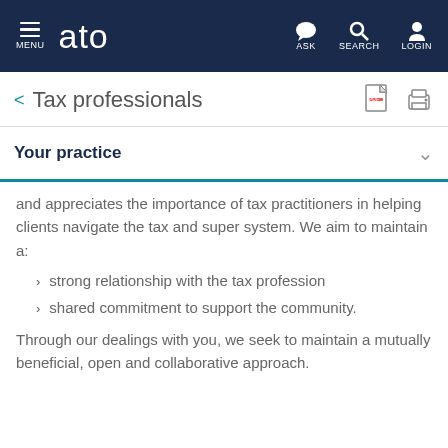MENU  ato  ASK  SEARCH  LOGIN
Tax professionals
Your practice
and appreciates the importance of tax practitioners in helping clients navigate the tax and super system. We aim to maintain a:
strong relationship with the tax profession
shared commitment to support the community.
Through our dealings with you, we seek to maintain a mutually beneficial, open and collaborative approach.